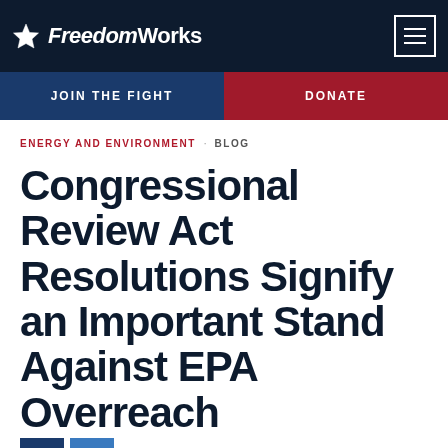FreedomWorks
ENERGY AND ENVIRONMENT · BLOG
Congressional Review Act Resolutions Signify an Important Stand Against EPA Overreach